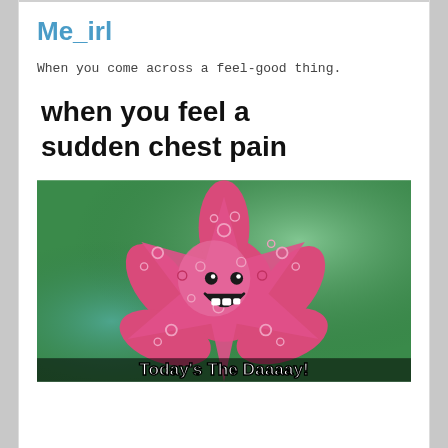Me_irl
When you come across a feel-good thing.
when you feel a sudden chest pain
[Figure (photo): A smiling pink starfish character (Pearl from Finding Nemo) with arms spread wide, set against a green aquatic background. Below the image is text reading 'Today's The Daaaay!']
Today's The Daaaay!